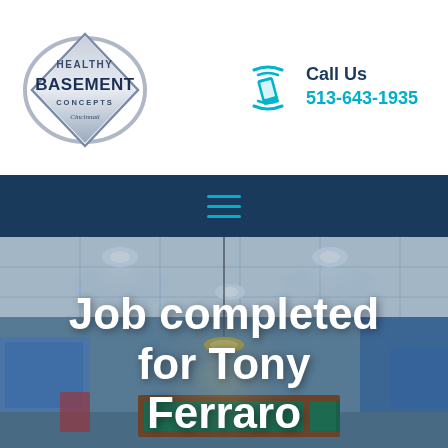[Figure (logo): Healthy Basement Concepts Cincinnati logo — diamond/shield shape with blue gradient border]
Call Us
513-643-1935
[Figure (other): Hamburger menu icon (three horizontal teal lines) on dark blue navigation bar]
[Figure (photo): Finished basement interior with drop ceiling, recessed lighting, billiard table, and blue accent walls]
Job completed for Tony Ferraro